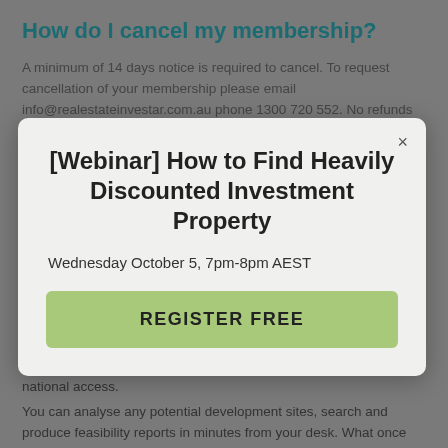How do I cancel my membership?
A minimum of 14 days notice is required to cancel. To request cancellation of your membership please email info@realestateinvestar.com.au phone 1300 720 552. No refunds will be given.
[Figure (screenshot): Modal popup dialog box with close button (×) in top right]
[Webinar] How to Find Heavily Discounted Investment Property
Wednesday October 5, 7pm-8pm AEST
REGISTER FREE
Real Estate Investar partner with Archistar to provide our members with exclusive discounted access to Archistar.
Access is to the Archistar 'Starting Out' subscription and includes national access.
You can analyse any potential development sites, search and produce feasibility reports in minutes from your desk. What once took developers weeks can now be done in less than a day! You will have access to: